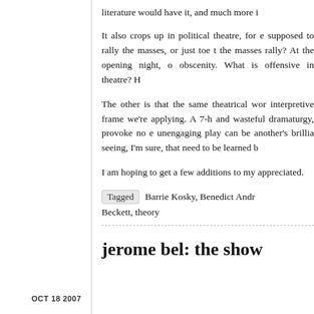literature would have it, and much more i
It also crops up in political theatre, for e supposed to rally the masses, or just toe t the masses rally? At the opening night, o obscenity. What is offensive in theatre? H
The other is that the same theatrical wor interpretive frame we're applying. A 7-h and wasteful dramaturgy, provoke no e unengaging play can be another's brillia seeing, I'm sure, that need to be learned b
I am hoping to get a few additions to my appreciated.
Tagged   Barrie Kosky, Benedict Andr Beckett, theory
OCT 18 2007
jerome bel: the show